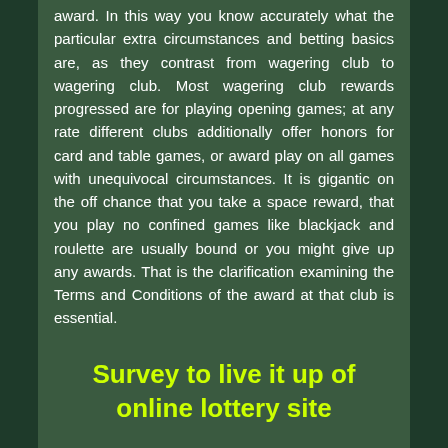award. In this way you know accurately what the particular extra circumstances and betting basics are, as they contrast from wagering club to wagering club. Most wagering club rewards progressed are for playing opening games; at any rate different clubs additionally offer honors for card and table games, or award play on all games with unequivocal circumstances. It is gigantic on the off chance that you take a space reward, that you play no confined games like blackjack and roulette are usually bound or you might give up any awards. That is the clarification examining the Terms and Conditions of the award at that club is essential.
Survey to live it up of online lottery site